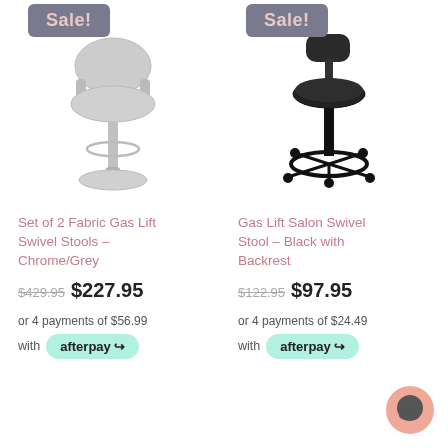[Figure (photo): Grey fabric gas lift swivel stool with arms and chrome base, with 'Sale!' badge overlay]
Set of 2 Fabric Gas Lift Swivel Stools – Chrome/Grey
$429.95 $227.95
or 4 payments of $56.99
with afterpay
[Figure (photo): Black vinyl gas lift salon swivel stool with backrest and casters, with 'Sale!' badge overlay]
Gas Lift Salon Swivel Stool – Black with Backrest
$122.95 $97.95
or 4 payments of $24.49
with afterpay